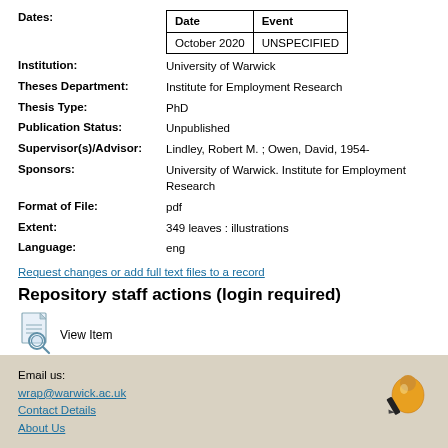| Date | Event |
| --- | --- |
| October 2020 | UNSPECIFIED |
Dates:
Institution: University of Warwick
Theses Department: Institute for Employment Research
Thesis Type: PhD
Publication Status: Unpublished
Supervisor(s)/Advisor: Lindley, Robert M. ; Owen, David, 1954-
Sponsors: University of Warwick. Institute for Employment Research
Format of File: pdf
Extent: 349 leaves : illustrations
Language: eng
Request changes or add full text files to a record
Repository staff actions (login required)
[Figure (illustration): View Item icon - document with magnifying glass]
View Item
Email us: wrap@warwick.ac.uk
Contact Details
About Us